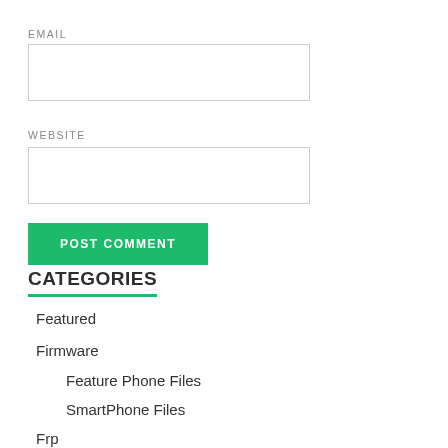EMAIL
[Figure (screenshot): Empty text input box for email field]
WEBSITE
[Figure (screenshot): Empty text input box for website field]
POST COMMENT
CATEGORIES
Featured
Firmware
Feature Phone Files
SmartPhone Files
Frp